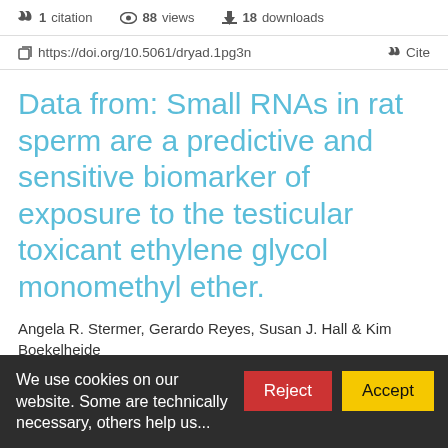1 citation   88 views   18 downloads
https://doi.org/10.5061/dryad.1pg3n   Cite
Data from: Small RNAs in rat sperm are a predictive and sensitive biomarker of exposure to the testicular toxicant ethylene glycol monomethyl ether.
Angela R. Stermer, Gerardo Reyes, Susan J. Hall & Kim Boekelheide
We use cookies on our website. Some are technically necessary, others help us...